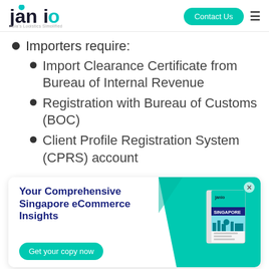[Figure (logo): Janio Asia's Logistics Simplified logo with teal accent and Contact Us button]
Importers require:
Import Clearance Certificate from Bureau of Internal Revenue
Registration with Bureau of Customs (BOC)
Client Profile Registration System (CPRS) account
[Figure (infographic): Advertisement banner: Your Comprehensive Singapore eCommerce Insights - Get your copy now - with book illustration on teal background]